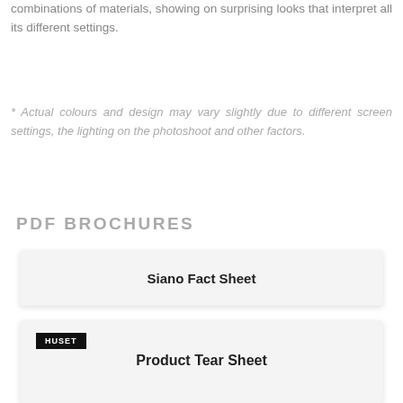combinations of materials, showing on surprising looks that interpret all its different settings.
* Actual colours and design may vary slightly due to different screen settings, the lighting on the photoshoot and other factors.
PDF BROCHURES
Siano Fact Sheet
[Figure (other): Card with HUSET logo bar and 'Product Tear Sheet' label]